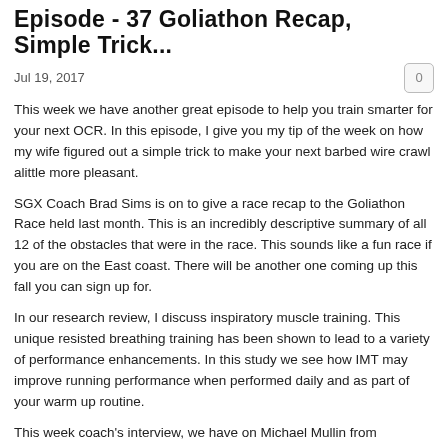Episode - 37 Goliathon Recap, Simple Trick...
Jul 19, 2017
This week we have another great episode to help you train smarter for your next OCR.  In this episode, I give you my tip of the week on how my wife figured out a simple trick to make your next barbed wire crawl alittle more pleasant.
SGX Coach Brad Sims is on to give a race recap to the Goliathon Race held last month.  This is an incredibly descriptive summary of all 12 of the obstacles that were in the race.  This sounds like a fun race if you are on the East coast.  There will be another one coming up this fall you can sign up for.
In our research review, I discuss inspiratory muscle training.  This unique resisted breathing training has been shown to lead to a variety of performance enhancements.  In this study we see how IMT may improve running performance when performed daily and as part of your warm up routine.
This week coach's interview, we have on Michael Mullin from Integrated Fitness Training.  I had the please of hosting a workshop earlier this year, where Michael provided incredibly useful and eye opening information and training/rehab strategies.  The focus of this training was on breathing, but we also got into many applicable training principles.
In this interview he explains why breathing should not be overlooked and how it is the foundation of everything we do.  He discusses the different physiological, biochemical, and postural effects of proper and improper